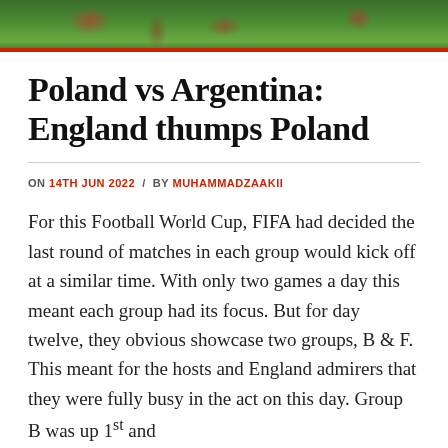[Figure (photo): Sports photo strip showing football/soccer players on a grass field, with red jerseys visible]
Poland vs Argentina: England thumps Poland
ON 14TH JUN 2022 / BY MUHAMMADZAAKII
For this Football World Cup, FIFA had decided the last round of matches in each group would kick off at a similar time. With only two games a day this meant each group had its focus. But for day twelve, they obvious showcase two groups, B & F. This meant for the hosts and England admirers that they were fully busy in the act on this day. Group B was up 1st and